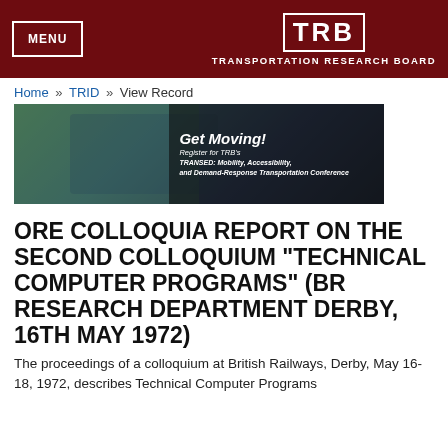MENU | TRB TRANSPORTATION RESEARCH BOARD
Home » TRID » View Record
[Figure (photo): Banner photo showing group of people at a conference, with overlay text: Get Moving! Register for TRB's TRANSED: Mobility, Accessibility, and Demand-Response Transportation Conference]
ORE COLLOQUIA REPORT ON THE SECOND COLLOQUIUM "TECHNICAL COMPUTER PROGRAMS" (BR RESEARCH DEPARTMENT DERBY, 16TH MAY 1972)
The proceedings of a colloquium at British Railways, Derby, May 16-18, 1972, describes Technical Computer Programs